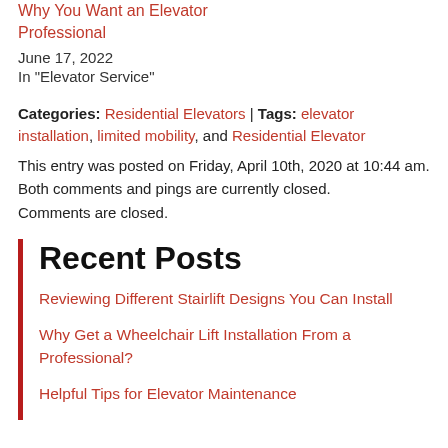Why You Want an Elevator Professional
June 17, 2022
In "Elevator Service"
Categories: Residential Elevators | Tags: elevator installation, limited mobility, and Residential Elevator
This entry was posted on Friday, April 10th, 2020 at 10:44 am. Both comments and pings are currently closed.
Comments are closed.
Recent Posts
Reviewing Different Stairlift Designs You Can Install
Why Get a Wheelchair Lift Installation From a Professional?
Helpful Tips for Elevator Maintenance